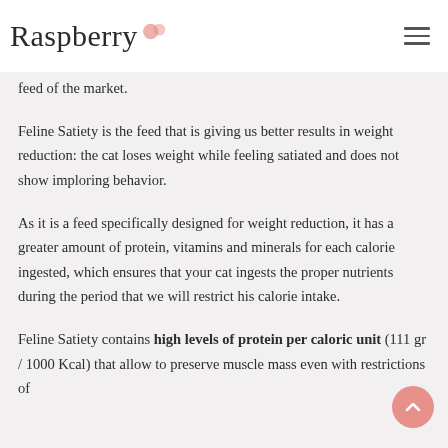Raspberry
feed of the market.
Feline Satiety is the feed that is giving us better results in weight reduction: the cat loses weight while feeling satiated and does not show imploring behavior.
As it is a feed specifically designed for weight reduction, it has a greater amount of protein, vitamins and minerals for each calorie ingested, which ensures that your cat ingests the proper nutrients during the period that we will restrict his calorie intake.
Feline Satiety contains high levels of protein per caloric unit (111 gr / 1000 Kcal) that allow to preserve muscle mass even with restrictions of